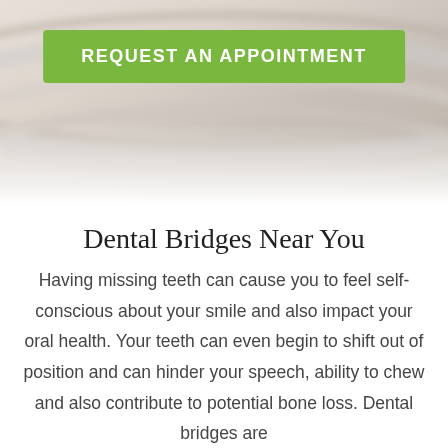[Figure (photo): Blurred background image of what appears to be white/light colored dental or clinical setting, soft focus]
REQUEST AN APPOINTMENT
Dental Bridges Near You
Having missing teeth can cause you to feel self-conscious about your smile and also impact your oral health. Your teeth can even begin to shift out of position and can hinder your speech, ability to chew and also contribute to potential bone loss. Dental bridges are